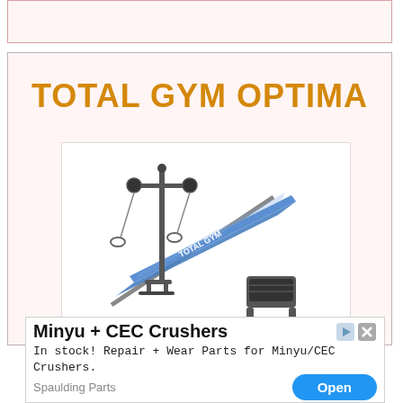TOTAL GYM OPTIMA
[Figure (photo): Total Gym Optima fitness machine — an inclined sliding bench with blue upholstered pad, metal frame, and attached pulley/cable system with handles, photographed on white background.]
Minyu + CEC Crushers
In stock! Repair + Wear Parts for Minyu/CEC Crushers.
Spaulding Parts
Open